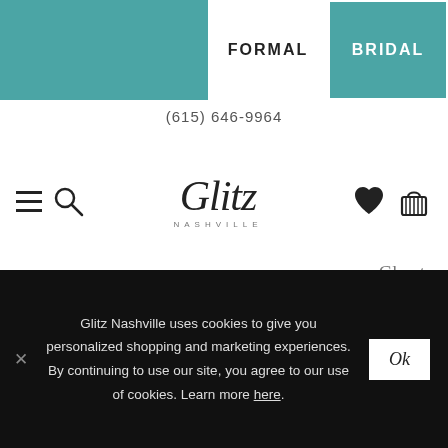FORMAL | BRIDAL
(615) 646-9964
[Figure (logo): Glitz Nashville script logo with hamburger menu, search icon, heart and basket icons]
Chart
16 18 20 22 24 (sizes, struck through circles)
26 28 30 32 (sizes, struck through circles)
Glitz Nashville uses cookies to give you personalized shopping and marketing experiences. By continuing to use our site, you agree to our use of cookies. Learn more here.